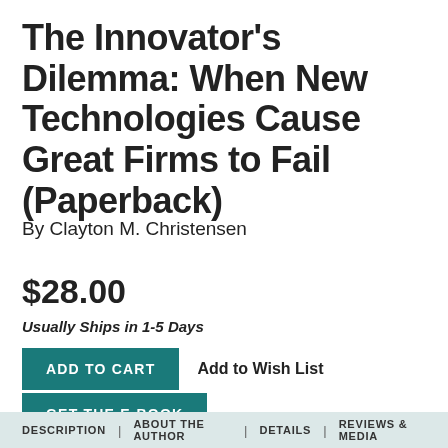The Innovator's Dilemma: When New Technologies Cause Great Firms to Fail (Paperback)
By Clayton M. Christensen
$28.00
Usually Ships in 1-5 Days
ADD TO CART   Add to Wish List
GET THE E-BOOK
DESCRIPTION | ABOUT THE AUTHOR | DETAILS | REVIEWS & MEDIA